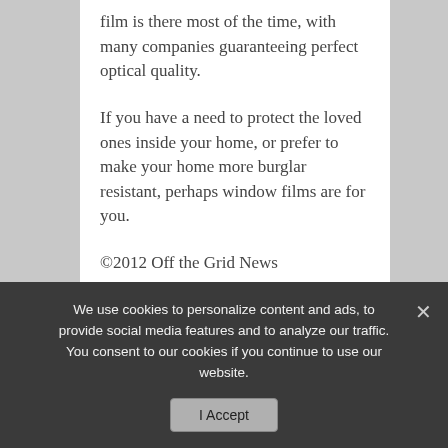film is there most of the time, with many companies guaranteeing perfect optical quality.
If you have a need to protect the loved ones inside your home, or prefer to make your home more burglar resistant, perhaps window films are for you.
©2012 Off the Grid News
© Copyright Off The Grid News
[Figure (screenshot): Social share buttons: Facebook Share with count 12, Twitter Tweet with count 1]
We use cookies to personalize content and ads, to provide social media features and to analyze our traffic. You consent to our cookies if you continue to use our website.